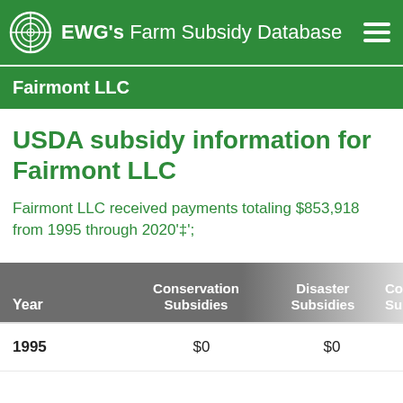EWG's Farm Subsidy Database
Fairmont LLC
USDA subsidy information for Fairmont LLC
Fairmont LLC received payments totaling $853,918 from 1995 through 2020'‡';
| Year | Conservation Subsidies | Disaster Subsidies | Co... Sub... |
| --- | --- | --- | --- |
| 1995 | $0 | $0 |  |